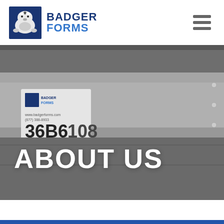[Figure (logo): Badger Forms logo with badger icon and blue text reading BADGER FORMS]
[Figure (photo): Close-up photo of a metal part or form with a Badger Forms label sticker showing 36B6 108, background is grey industrial metal]
ABOUT US